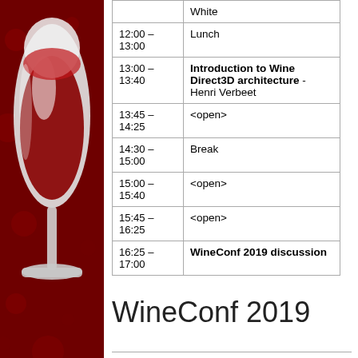[Figure (illustration): WineConf 2019 logo: red wine glass on dark red background with decorative bubbles/circles]
| Time | Event |
| --- | --- |
|  | White |
| 12:00 – 13:00 | Lunch |
| 13:00 – 13:40 | Introduction to Wine Direct3D architecture - Henri Verbeet |
| 13:45 – 14:25 | <open> |
| 14:30 – 15:00 | Break |
| 15:00 – 15:40 | <open> |
| 15:45 – 16:25 | <open> |
| 16:25 – 17:00 | WineConf 2019 discussion |
WineConf 2019